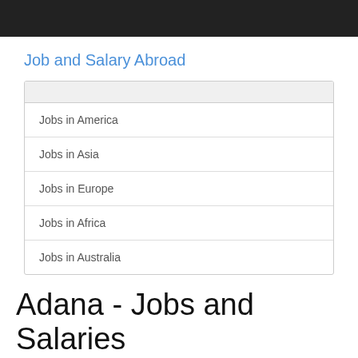Job and Salary Abroad
Jobs in America
Jobs in Asia
Jobs in Europe
Jobs in Africa
Jobs in Australia
Adana - Jobs and Salaries